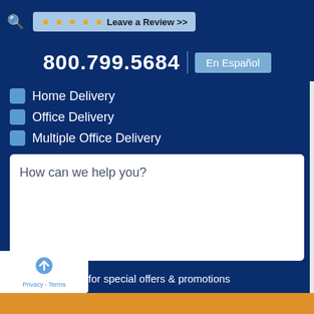800.799.5684  En Español  ★★★★★ Leave a Review >>
Home Delivery
Office Delivery
Multiple Office Delivery
How can we help you?
Sign me up for special offers & promotions
Send Request →